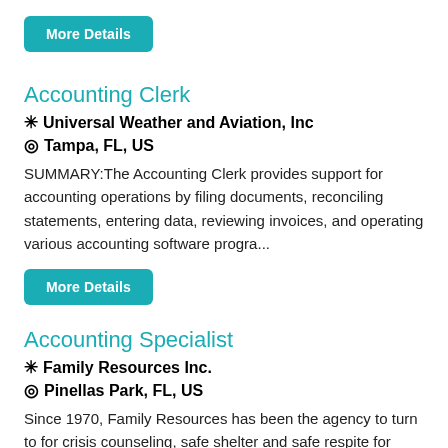More Details
Accounting Clerk
Universal Weather and Aviation, Inc
Tampa, FL, US
SUMMARY:The Accounting Clerk provides support for accounting operations by filing documents, reconciling statements, entering data, reviewing invoices, and operating various accounting software progra...
More Details
Accounting Specialist
Family Resources Inc.
Pinellas Park, FL, US
Since 1970, Family Resources has been the agency to turn to for crisis counseling, safe shelter and safe respite for runaway and homeless teens. We are committed to